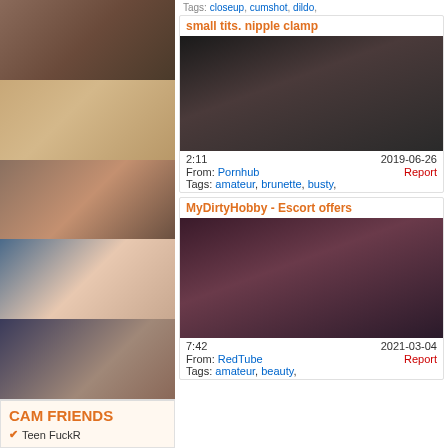[Figure (photo): Left column thumbnail strip with 5 adult content thumbnails]
CAM FRIENDS
✔ Teen FuckR
Tags: closeup, cumshot, dildo,
small tits. nipple clamp
[Figure (photo): Adult video thumbnail, dark tones]
2:11   2019-06-26
From: Pornhub   Report
Tags: amateur, brunette, busty,
MyDirtyHobby - Escort offers
[Figure (photo): Adult video thumbnail, red/purple tones with text overlay]
7:42   2021-03-04
From: RedTube   Report
Tags: amateur, beauty,